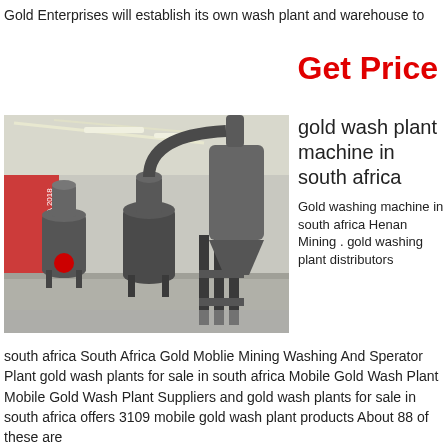Gold Enterprises will establish its own wash plant and warehouse to
Get Price
[Figure (photo): Industrial gold wash plant machinery displayed in a large warehouse/exhibition hall. Large grey metal grinding/milling machines with pipes and cyclone dust collectors, red decorative banners in background.]
gold wash plant machine in south africa
Gold washing machine in south africa Henan Mining . gold washing plant distributors
south africa South Africa Gold Moblie Mining Washing And Sperator Plant gold wash plants for sale in south africa Mobile Gold Wash Plant Mobile Gold Wash Plant Suppliers and gold wash plants for sale in south africa offers 3109 mobile gold wash plant products About 88 of these are